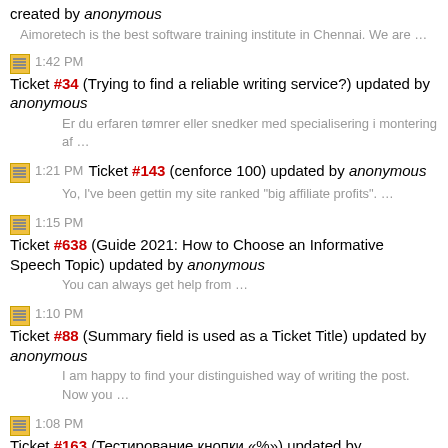created by anonymous
Aimoretech is the best software training institute in Chennai. We are …
1:42 PM Ticket #34 (Trying to find a reliable writing service?) updated by anonymous
Er du erfaren tømrer eller snedker med specialisering i montering af …
1:21 PM Ticket #143 (cenforce 100) updated by anonymous
Yo, I've been gettin my site ranked "big affiliate profits". …
1:15 PM Ticket #638 (Guide 2021: How to Choose an Informative Speech Topic) updated by anonymous
You can always get help from …
1:10 PM Ticket #88 (Summary field is used as a Ticket Title) updated by anonymous
I am happy to find your distinguished way of writing the post. Now you …
1:08 PM Ticket #163 (Тестирование кнопки «%») updated by anonymous